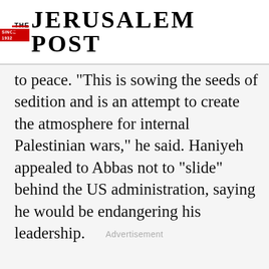THE JERUSALEM POST
to peace. "This is sowing the seeds of sedition and is an attempt to create the atmosphere for internal Palestinian wars," he said. Haniyeh appealed to Abbas not to "slide" behind the US administration, saying he would be endangering his leadership.
Top Articles
[Figure (photo): Dark image strip showing a partial photo with a red block on the right side]
Advertisement